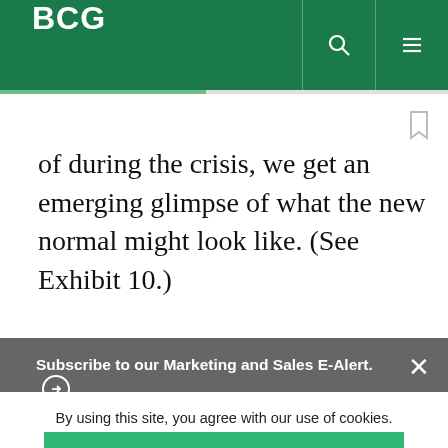BCG
of during the crisis, we get an emerging glimpse of what the new normal might look like. (See Exhibit 10.)
Subscribe to our Marketing and Sales E-Alert.
protected by reCaptcha
By using this site, you agree with our use of cookies.
I consent to cookies
Want to know more?
Read our Cookie Policy